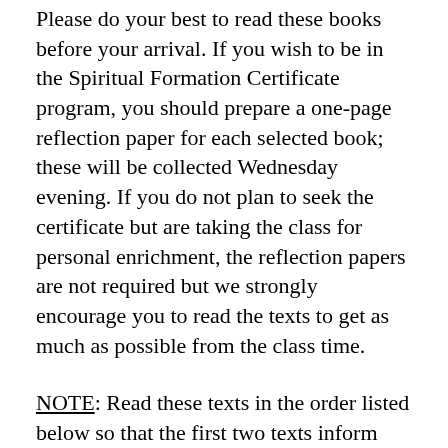Please do your best to read these books before your arrival. If you wish to be in the Spiritual Formation Certificate program, you should prepare a one-page reflection paper for each selected book; these will be collected Wednesday evening. If you do not plan to seek the certificate but are taking the class for personal enrichment, the reflection papers are not required but we strongly encourage you to read the texts to get as much as possible from the class time.
NOTE: Read these texts in the order listed below so that the first two texts inform and assist in your reading of the third book.